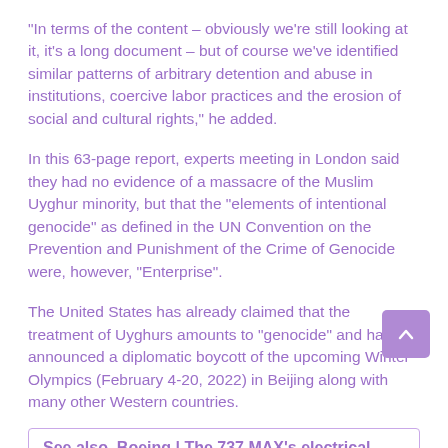“In terms of the content – obviously we’re still looking at it, it’s a long document – but of course we’ve identified similar patterns of arbitrary detention and abuse in institutions, coercive labor practices and the erosion of social and cultural rights,” he added.
In this 63-page report, experts meeting in London said they had no evidence of a massacre of the Muslim Uyghur minority, but that the “elements of intentional genocide” as defined in the UN Convention on the Prevention and Punishment of the Crime of Genocide were, however, “Enterprise”.
The United States has already claimed that the treatment of Uyghurs amounts to “genocide” and has announced a diplomatic boycott of the upcoming Winter Olympics (February 4-20, 2022) in Beijing along with many other Western countries.
See also  Boeing | The 737 MAX’s electrical problem is related to a hundred devices.